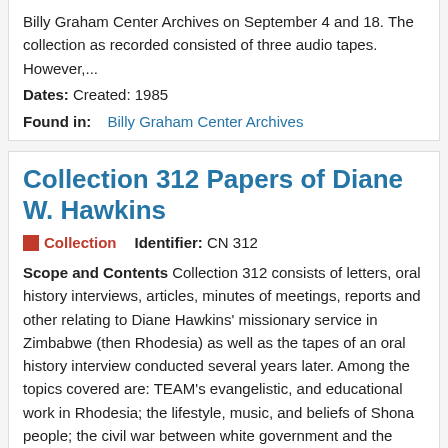Billy Graham Center Archives on September 4 and 18. The collection as recorded consisted of three audio tapes. However,...
Dates: Created: 1985
Found in: Billy Graham Center Archives
Collection 312 Papers of Diane W. Hawkins
Collection   Identifier: CN 312
Scope and Contents Collection 312 consists of letters, oral history interviews, articles, minutes of meetings, reports and other relating to Diane Hawkins' missionary service in Zimbabwe (then Rhodesia) as well as the tapes of an oral history interview conducted several years later. Among the topics covered are: TEAM's evangelistic, and educational work in Rhodesia; the lifestyle, music, and beliefs of Shona people; the civil war between white government and the black nationalist guerrillas which raged while...